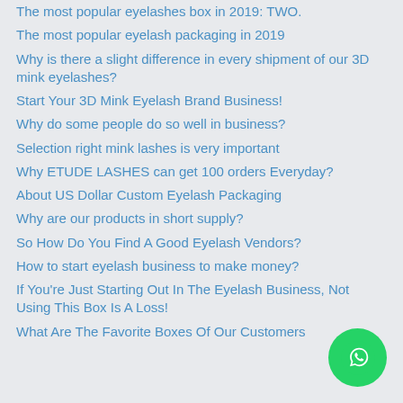The most popular eyelashes box in 2019: TWO.
The most popular eyelash packaging in 2019
Why is there a slight difference in every shipment of our 3D mink eyelashes?
Start Your 3D Mink Eyelash Brand Business!
Why do some people do so well in business?
Selection right mink lashes is very important
Why ETUDE LASHES can get 100 orders Everyday?
About US Dollar Custom Eyelash Packaging
Why are our products in short supply?
So How Do You Find A Good Eyelash Vendors?
How to start eyelash business to make money?
If You're Just Starting Out In The Eyelash Business, Not Using This Box Is A Loss!
What Are The Favorite Boxes Of Our Customers
[Figure (illustration): WhatsApp contact button (green circle with phone handset icon) in bottom-right corner]